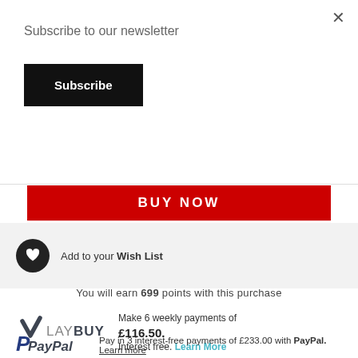Subscribe to our newsletter
Subscribe
BUY NOW
Add to your Wish List
You will earn 699 points with this purchase
Make 6 weekly payments of £116.50. Interest free. Learn More
[Figure (logo): Laybuy logo with checkmark icon]
Pay in 3 interest-free payments of £233.00 with PayPal. Learn more
[Figure (logo): PayPal logo]